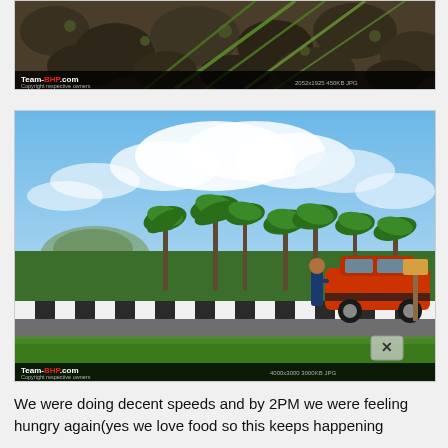[Figure (photo): Close-up photo of rocks and green plant stems/leaves, with Team-BHP.com watermark and copyright notice at bottom. Dimensions shown: 2052x1925 450KB JPG]
[Figure (photo): Outdoor photo of a red Ford EcoSport SUV parked on the side of a road with palm trees in the background under a partly cloudy sky. A person is standing next to the car. Green grass in the foreground. Team-BHP.com watermark at bottom. Dimensions shown: 4000x3000 3000KB JPG]
We were doing decent speeds and by 2PM we were feeling hungry again(yes we love food so this keeps happening